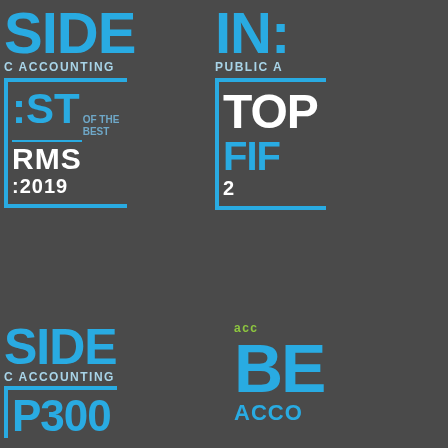[Figure (logo): Inside Public Accounting Best of the Best FIRMS 2019 badge - partially cropped, showing SIDE, C ACCOUNTING, EST OF THE BEST, RMS, 2019 with blue bracket elements on dark background]
[Figure (logo): Inside Public Accounting Top Fifty Firms badge - partially cropped, showing INS, PUBLIC, TOP, FIF, 2 with blue bracket elements on dark background]
[Figure (logo): Inside Public Accounting Top 300 badge - partially cropped, showing SIDE, C ACCOUNTING, P300 with blue bracket on dark background]
[Figure (logo): Accounting Today Best Accounting Firms badge - partially cropped, showing acc, BE, ACCO on dark background]